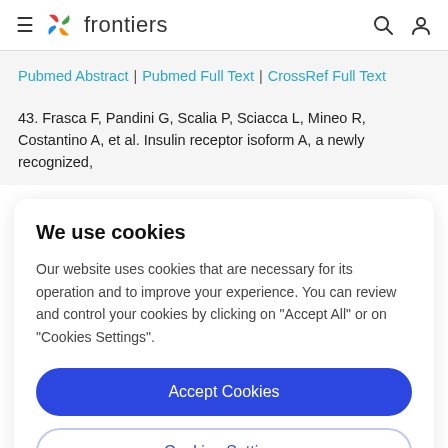frontiers
Pubmed Abstract | Pubmed Full Text | CrossRef Full Text
43. Frasca F, Pandini G, Scalia P, Sciacca L, Mineo R, Costantino A, et al. Insulin receptor isoform A, a newly recognized,
We use cookies
Our website uses cookies that are necessary for its operation and to improve your experience. You can review and control your cookies by clicking on "Accept All" or on "Cookies Settings".
Accept Cookies
Cookies Settings